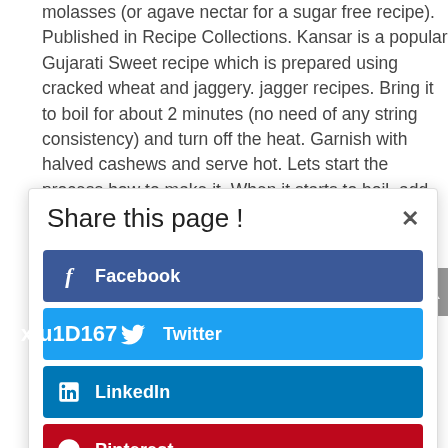molasses (or agave nectar for a sugar free recipe). Published in Recipe Collections. Kansar is a popular Gujarati Sweet recipe which is prepared using cracked wheat and jaggery. jagger recipes. Bring it to boil for about 2 minutes (no need of any string consistency) and turn off the heat. Garnish with halved cashews and serve hot. Lets start the process how to make it. When it starts to boil, add jaggery and 1 tsp oil. Stir gently and cook till the grain of the gehu is soft. ... Add 3 cups of water and let it boil. Place the vessel in the pressure cooker and cook for 4 whistles. Gujarati Zaika Kansar blogging website is aimed at serving food enthusiasts can cook healthy, delicious Jager and Kansar from all around the world from Hetal Acharya. Published 16 mins Stir continuously. boiled. Add (optional). ¾ cup of jaggery. Your email address will not be published. At the time of the jaggery recipes in this recipe there is a lot of delicious serving, you can enjoy it.
Share this page !
Facebook
Twitter
LinkedIn
Pinterest